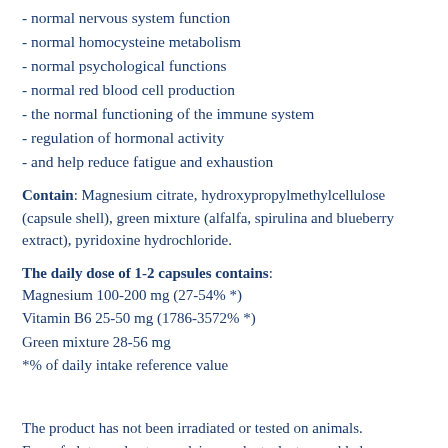- normal nervous system function
- normal homocysteine metabolism
- normal psychological functions
- normal red blood cell production
- the normal functioning of the immune system
- regulation of hormonal activity
- and help reduce fatigue and exhaustion
Contain: Magnesium citrate, hydroxypropylmethylcellulose (capsule shell), green mixture (alfalfa, spirulina and blueberry extract), pyridoxine hydrochloride.
The daily dose of 1-2 capsules contains: Magnesium 100-200 mg (27-54% *) Vitamin B6 25-50 mg (1786-3572% *) Green mixture 28-56 mg *% of daily intake reference value
The product has not been irradiated or tested on animals. Free of gluten, wheat, soy, dairy products, lactose, added